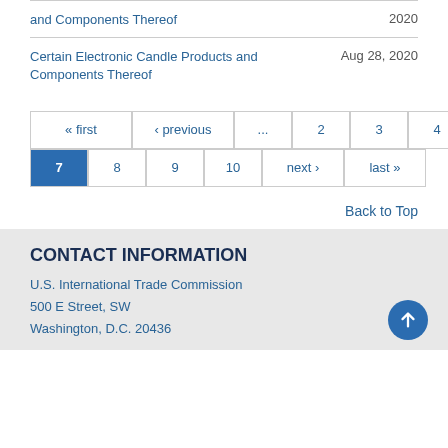and Components Thereof — 2020
Certain Electronic Candle Products and Components Thereof — Aug 28, 2020
Pagination: « first ‹ previous ... 2 3 4 5 6 | 7 8 9 10 next › last »
Back to Top
CONTACT INFORMATION
U.S. International Trade Commission
500 E Street, SW
Washington, D.C. 20436